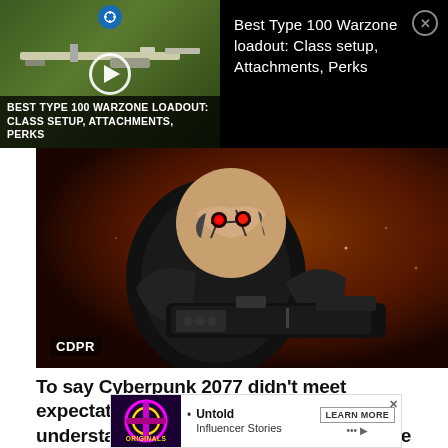[Figure (screenshot): Video thumbnail for 'Best Type 100 Warzone Loadout: Class Setup, Attachments, Perks' showing a rifle in a green outdoor setting with a play button overlay and site icon]
Best Type 100 Warzone loadout: Class setup, Attachments, Perks
[Figure (screenshot): Cyberpunk 2077 screenshot showing a cyborg character with glowing red eyes holding a large weapon, with CDPR watermark in bottom left]
To say Cyberpunk 2077 didn't meet expectations upon release would be an understatement. While the bug-filled game has been lamented as the worst AAA t given
[Figure (screenshot): Advertisement banner showing Originals logo with 'Untold Influencer Stories' and a Learn More button with close X]